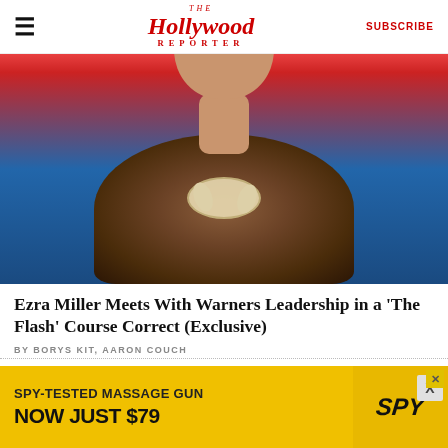The Hollywood Reporter | SUBSCRIBE
[Figure (photo): Photo of Ezra Miller in fur coat with bone necklace against red and blue background]
Ezra Miller Meets With Warners Leadership in a 'The Flash' Course Correct (Exclusive)
BY BORYS KIT, AARON COUCH
[Figure (photo): Photo of actress in Batgirl costume with blue mask and dark bodysuit]
[Figure (photo): Advertisement: SPY-TESTED MASSAGE GUN NOW JUST $79 - SPY logo]